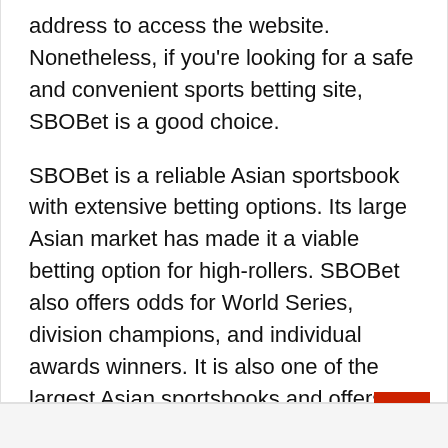address to access the website. Nonetheless, if you're looking for a safe and convenient sports betting site, SBOBet is a good choice.
SBOBet is a reliable Asian sportsbook with extensive betting options. Its large Asian market has made it a viable betting option for high-rollers. SBOBet also offers odds for World Series, division champions, and individual awards winners. It is also one of the largest Asian sportsbooks and offers an excellent marketing program. However, its most notable selling point is its broader selection of sports. The site is particularly popular among high-rollers in Asia.